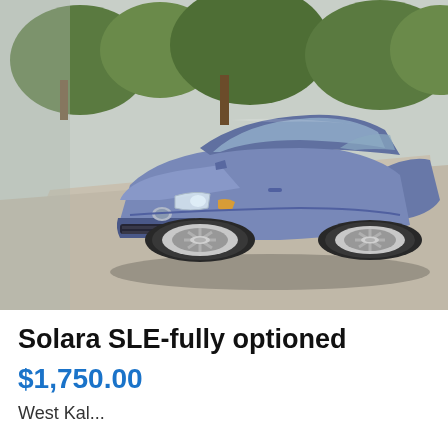[Figure (photo): Photograph of a blue Toyota Solara SLE coupe parked on a driveway/street, front-three-quarter view, with trees and grass visible in the background. The car is a late 1990s/early 2000s model in metallic blue.]
Solara SLE-fully optioned
$1,750.00
West Kal...